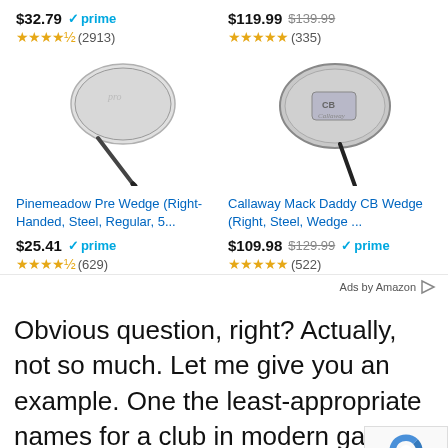[Figure (screenshot): Amazon product ad showing two golf wedges. Left: price $32.79 with Prime badge, 4.5 stars (2913 reviews), Pinemeadow Pre Wedge image, product title 'Pinemeadow Pre Wedge (Right-Handed, Steel, Regular, 5...', price $25.41 Prime, 4.5 stars (629). Right: price $119.99 strikethrough $139.99, 5 stars (335), Callaway Mack Daddy CB Wedge image, product title 'Callaway Mack Daddy CB Wedge (Right, Steel, Wedge ...', price $109.98 strikethrough $129.99 Prime, 5 stars (522). Ads by Amazon.]
Obvious question, right? Actually, not so much. Let me give you an example. One the least-appropriate names for a club in modern game is the pitching wedge.